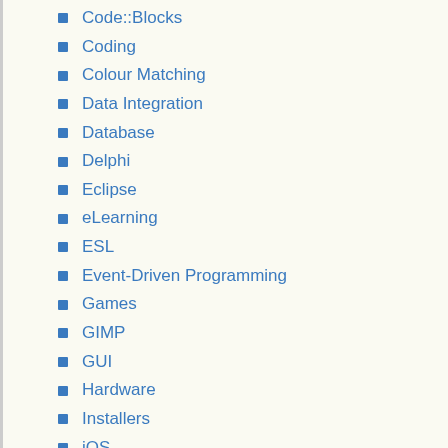Code::Blocks
Coding
Colour Matching
Data Integration
Database
Delphi
Eclipse
eLearning
ESL
Event-Driven Programming
Games
GIMP
GUI
Hardware
Installers
iOS
Land Surveying
Moodle
Music Poll
NetB…